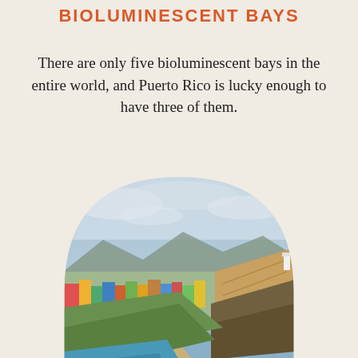BIOLUMINESCENT BAYS
There are only five bioluminescent bays in the entire world, and Puerto Rico is lucky enough to have three of them.
[Figure (photo): Aerial/coastal view of Old San Juan, Puerto Rico, showing colorful buildings, a historic stone fort (El Morro), rocky coastline with crashing waves and turquoise water, green hillside, and mountains in the background under a partly cloudy sky. The image is cropped in an arch shape.]